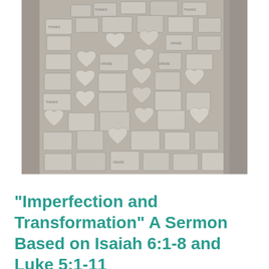[Figure (photo): A stone wall or niche filled with numerous small stone plaques and heart-shaped votive tiles, many with inscribed text, stacked and packed together tightly. The image is in black and white/grayscale tones.]
“Imperfection and Transformation” A Sermon Based on Isaiah 6:1-8 and Luke 5:1-11